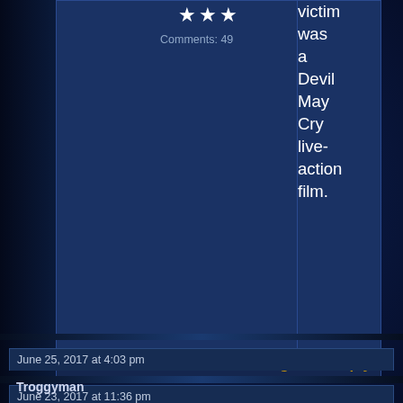[Figure (screenshot): Partial comment section top: star rating and comment count visible, right column shows partial text 'victim was a Devil May Cry live-action film.']
victim was a Devil May Cry live-action film.
Comments: 49
Log in to Reply
June 23, 2017 at 11:36 pm
Aethelred
[Figure (illustration): Avatar image of a blue pony (My Little Pony style) with text 'þe fonne' at top and 'hæfp bip twifealdad' at bottom]
Bat Hero
Comments: 82
That memory BS at the end is like some horrible inverted Blade Runner. How hard is it to keep track of a movie series that you yourself wrote and directed? Especially when you have studio backing?
Log in to Reply
June 25, 2017 at 4:03 pm
Troggyman